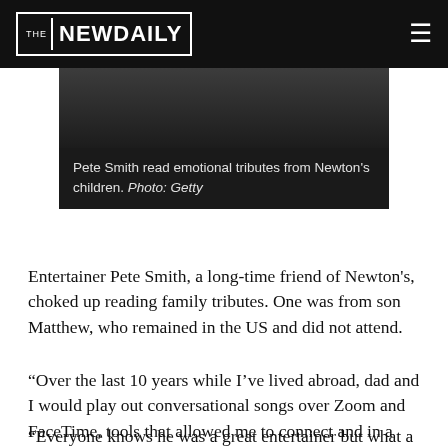THE NEW DAILY
[Figure (photo): Dark image at top, partially cropped. Below the image is a dark caption bar.]
Pete Smith read emotional tributes from Newton's children. Photo: Getty
Entertainer Pete Smith, a long-time friend of Newton's, choked up reading family tributes. One was from son Matthew, who remained in the US and did not attend.
“Over the last 10 years while I’ve lived abroad, dad and I would play out conversational songs over Zoom and FaceTime, tools that allowed me to connect and in a way reconnect with my whole family, but especially with dad,” Matthew Newton wrote to Smith.
“Everyone knows he was a great entertainer but what a lot of